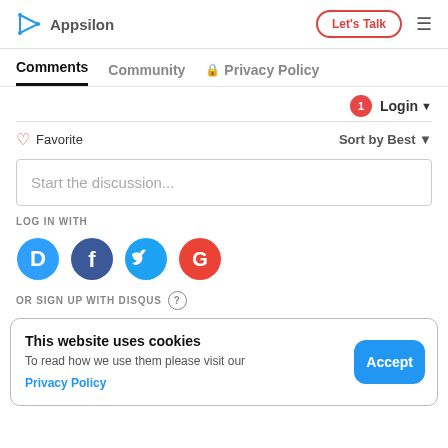Appsilon | Let's Talk
Comments | Community | Privacy Policy
Login ▾
♡ Favorite   Sort by Best ▾
Start the discussion...
LOG IN WITH
[Figure (infographic): Social login icons: Disqus (D), Facebook (f), Twitter bird, Google (G) in colored circles]
OR SIGN UP WITH DISQUS ?
This website uses cookies
To read how we use them please visit our Privacy Policy
Accept